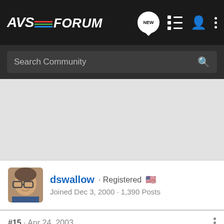[Figure (screenshot): AVSForum navigation bar with logo, NEW chat icon, list icon, person icon, and three-dots menu icon on dark background]
Search Community
dswallow · Registered 🇺🇸
Joined Dec 3, 2000 · 1,390 Posts
#15 · Apr 24, 2003
🗨If you're gonna pay over $1,000 for a remote control, you may